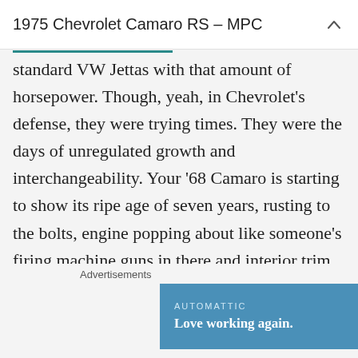1975 Chevrolet Camaro RS – MPC
standard VW Jettas with that amount of horsepower. Though, yeah, in Chevrolet's defense, they were trying times. They were the days of unregulated growth and interchangeability. Your '68 Camaro is starting to show its ripe age of seven years, rusting to the bolts, engine popping about like someone's firing machine guns in there and interior trim disintegrating upon touching? Well, you're done paying for the thing so why not get yourself a new one. That was basically how cars worked back
Advertisements
[Figure (infographic): AUTOMATTIC advertisement banner with text 'Love working again.' on blue background]